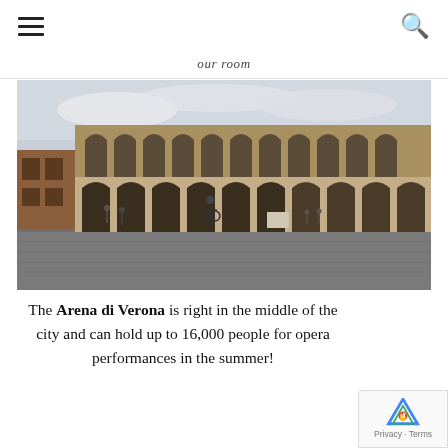≡  [hamburger menu] | [search icon]
our room
[Figure (photo): Photograph of the Arena di Verona, a Roman amphitheatre, seen from a wide piazza. A cyclist rides toward the building in the foreground. Several pedestrians are visible. The building has two tiers of arched openings with large stone construction. Cloudy sky.]
The Arena di Verona is right in the middle of the city and can hold up to 16,000 people for opera performances in the summer!